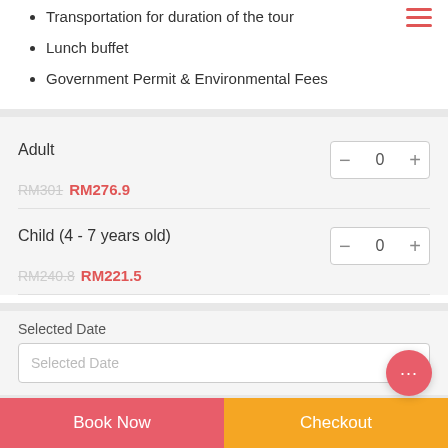Transportation for duration of the tour
Lunch buffet
Government Permit & Environmental Fees
Adult
RM301 RM276.9
Child (4 - 7 years old)
RM240.8 RM221.5
Selected Date
Selected Date
Total : RM0
Book Now
Checkout